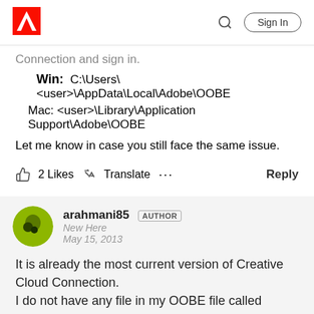Adobe | Sign In
Connection and sign in.
Win: C:\Users\<user>\AppData\Local\Adobe\OOBE
Mac: <user>\Library\Application Support\Adobe\OOBE
Let me know in case you still face the same issue.
2 Likes  Translate  ...  Reply
arahmani85 AUTHOR
New Here
May 15, 2013
It is already the most current version of Creative Cloud Connection.
I do not have any file in my OOBE file called opm.db